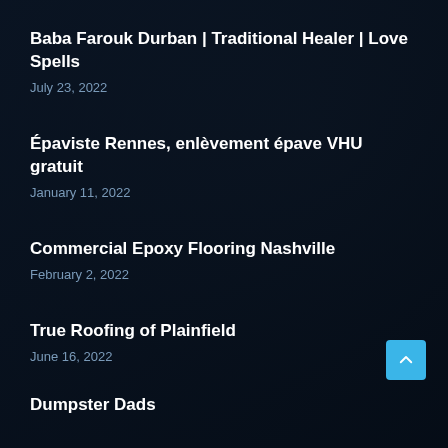Baba Farouk Durban | Traditional Healer | Love Spells
July 23, 2022
Épaviste Rennes, enlèvement épave VHU gratuit
January 11, 2022
Commercial Epoxy Flooring Nashville
February 2, 2022
True Roofing of Plainfield
June 16, 2022
Dumpster Dads